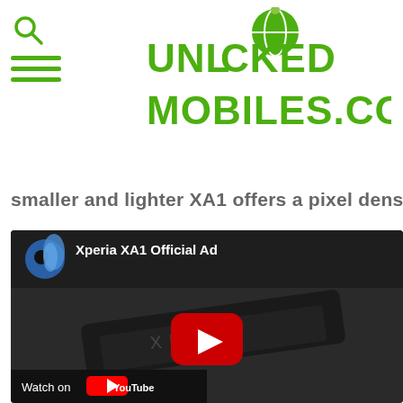UNLOCKED MOBILES.COM
smaller and lighter XA1 offers a pixel density of
[Figure (screenshot): YouTube video embed thumbnail showing 'Xperia XA1 Official Ad' with a play button overlay on a dark background showing a Sony Xperia phone, with a 'Watch on YouTube' button at the bottom left]